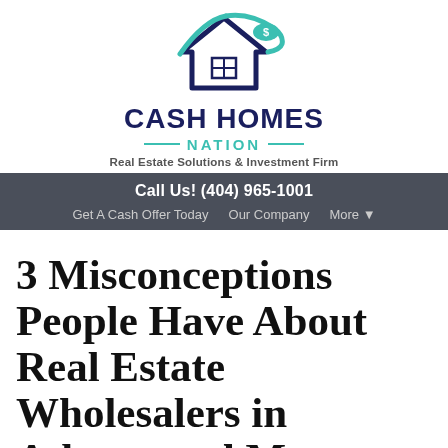[Figure (logo): Cash Homes Nation logo with house roofline graphic in teal and navy, dollar sign element, with 'CASH HOMES NATION — Real Estate Solutions & Investment Firm']
Call Us! (404) 965-1001
Get A Cash Offer Today   Our Company   More ▾
3 Misconceptions People Have About Real Estate Wholesalers in Atlanta and Metro